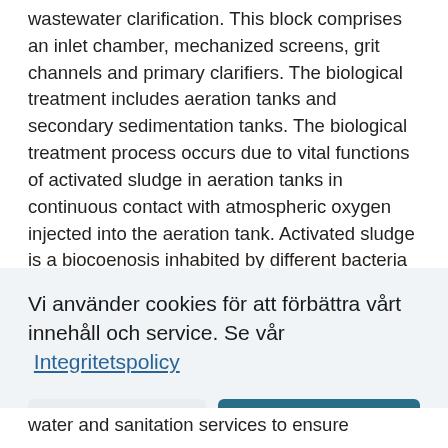wastewater clarification. This block comprises an inlet chamber, mechanized screens, grit channels and primary clarifiers. The biological treatment includes aeration tanks and secondary sedimentation tanks. The biological treatment process occurs due to vital functions of activated sludge in aeration tanks in continuous contact with atmospheric oxygen injected into the aeration tank. Activated sludge is a biocoenosis inhabited by different bacteria
Vi använder cookies för att förbättra vårt innehåll och service. Se vår Integritetspolicy
Jag godkänner inte
Jag godkänner
water and sanitation services to ensure